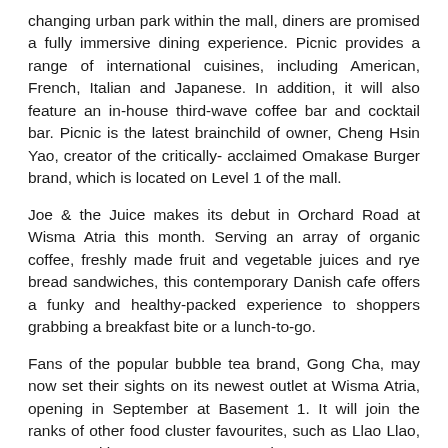changing urban park within the mall, diners are promised a fully immersive dining experience. Picnic provides a range of international cuisines, including American, French, Italian and Japanese. In addition, it will also feature an in-house third-wave coffee bar and cocktail bar. Picnic is the latest brainchild of owner, Cheng Hsin Yao, creator of the critically- acclaimed Omakase Burger brand, which is located on Level 1 of the mall.
Joe & the Juice makes its debut in Orchard Road at Wisma Atria this month. Serving an array of organic coffee, freshly made fruit and vegetable juices and rye bread sandwiches, this contemporary Danish cafe offers a funky and healthy-packed experience to shoppers grabbing a breakfast bite or a lunch-to-go.
Fans of the popular bubble tea brand, Gong Cha, may now set their sights on its newest outlet at Wisma Atria, opening in September at Basement 1. It will join the ranks of other food cluster favourites, such as Llao Llao, Ben's Cookies, Garrett popcorn and Famous Amos.